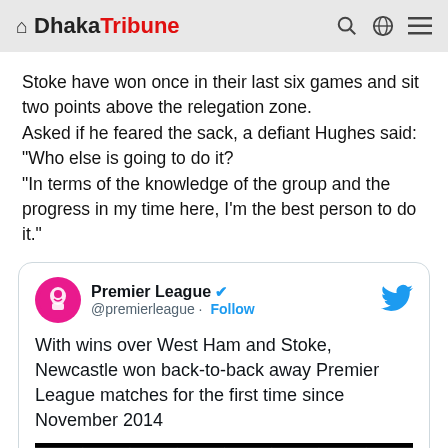Dhaka Tribune
Stoke have won once in their last six games and sit two points above the relegation zone.
Asked if he feared the sack, a defiant Hughes said:
"Who else is going to do it?
"In terms of the knowledge of the group and the progress in my time here, I'm the best person to do it."
[Figure (screenshot): Embedded tweet from @premierleague (Premier League verified account) with Twitter bird logo. Tweet text: 'With wins over West Ham and Stoke, Newcastle won back-to-back away Premier League matches for the first time since November 2014'. Below the tweet text is a soccer net/goal image with a football visible.]